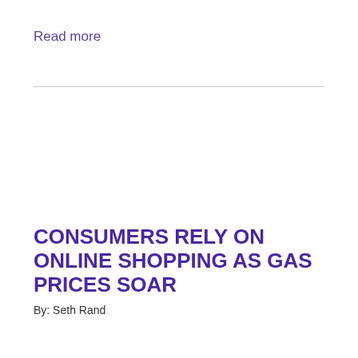Read more
CONSUMERS RELY ON ONLINE SHOPPING AS GAS PRICES SOAR
By: Seth Rand